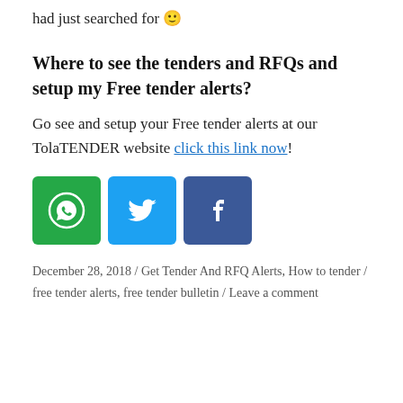had just searched for 🙂
Where to see the tenders and RFQs and setup my Free tender alerts?
Go see and setup your Free tender alerts at our TolaTENDER website click this link now!
[Figure (illustration): Three social media share buttons: WhatsApp (green), Twitter (blue), Facebook (dark blue), each with their respective icons]
December 28, 2018 / Get Tender And RFQ Alerts, How to tender / free tender alerts, free tender bulletin / Leave a comment